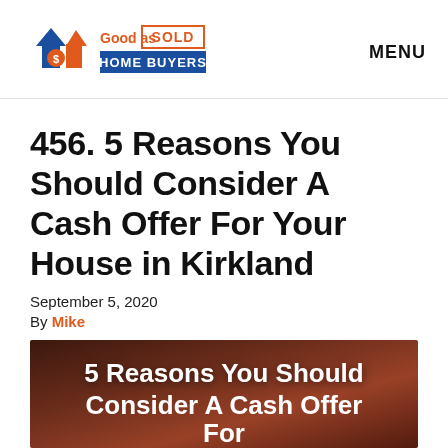[Figure (logo): Good as Sold Home Buyers logo with house icon and SOLD sign]
MENU
456. 5 Reasons You Should Consider A Cash Offer For Your House in Kirkland
September 5, 2020
By Mike
[Figure (photo): Hero image with text: 5 Reasons You Should Consider A Cash Offer For Your House in Kirkland, dark red/brown toned background]